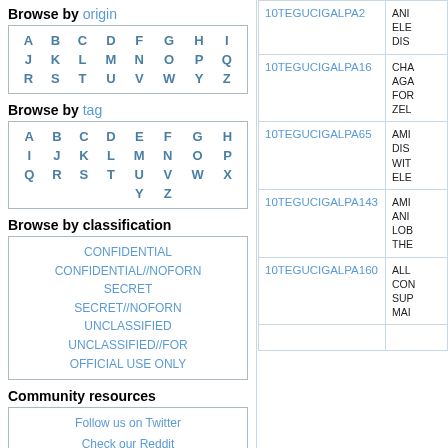Browse by origin
| A | B | C | D | F | G | H | I |
| J | K | L | M | N | O | P | Q |
| R | S | T | U | V | W | Y | Z |
Browse by tag
| A | B | C | D | E | F | G | H |
| I | J | K | L | M | N | O | P |
| Q | R | S | T | U | V | W | X |
|  |  |  | Y | Z |  |  |  |
Browse by classification
| CONFIDENTIAL |
| CONFIDENTIAL//NOFORN |
| SECRET |
| SECRET//NOFORN |
| UNCLASSIFIED |
| UNCLASSIFIED//FOR |
| OFFICIAL USE ONLY |
Community resources
| Follow us on Twitter |
| Check our Reddit |
| ID | Description |
| --- | --- |
| 10TEGUCIGALPA2 | ANI... ELE... DIS... |
| 10TEGUCIGALPA16 | CHA... AGA... FOR... ZEL... |
| 10TEGUCIGALPA65 | AMI... DIS... WIT... ELE... |
| 10TEGUCIGALPA143 | AMI... ANI... LOB... THE... |
| 10TEGUCIGALPA160 | ALL... CON... SUP... MAI... |